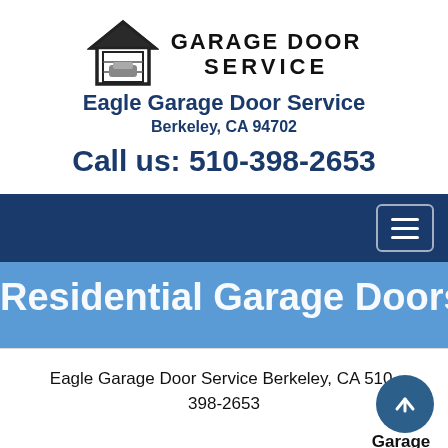[Figure (logo): Garage Door Service logo with house/garage icon and text 'GARAGE DOOR SERVICE']
Eagle Garage Door Service
Berkeley, CA 94702
Call us: 510-398-2653
[Figure (screenshot): Dark navy navigation bar with hamburger menu button on right]
Residential Garage Doors
Eagle Garage Door Service Berkeley, CA 510-398-2653
Doors
Garage